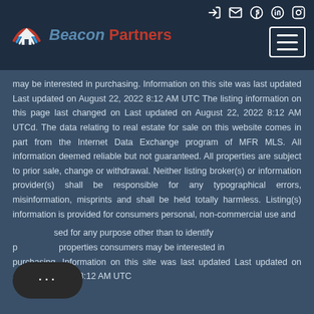Beacon Partners — navigation header with logo and icons
may be interested in purchasing. Information on this site was last updated Last updated on August 22, 2022 8:12 AM UTC The listing information on this page last changed on Last updated on August 22, 2022 8:12 AM UTCd. The data relating to real estate for sale on this website comes in part from the Internet Data Exchange program of MFR MLS. All information deemed reliable but not guaranteed. All properties are subject to prior sale, change or withdrawal. Neither listing broker(s) or information provider(s) shall be responsible for any typographical errors, misinformation, misprints and shall be held totally harmless. Listing(s) information is provided for consumers personal, non-commercial use and may not be used for any purpose other than to identify prospective properties consumers may be interested in purchasing. Information on this site was last updated Last updated on August 22, 2022 8:12 AM UTC